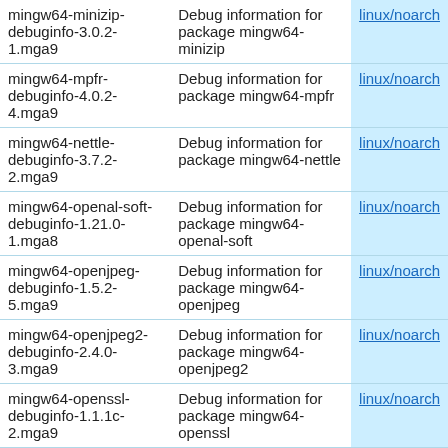| Package | Description | Arch |
| --- | --- | --- |
| mingw64-minizip-debuginfo-3.0.2-1.mga9 | Debug information for package mingw64-minizip | linux/noarch |
| mingw64-mpfr-debuginfo-4.0.2-4.mga9 | Debug information for package mingw64-mpfr | linux/noarch |
| mingw64-nettle-debuginfo-3.7.2-2.mga9 | Debug information for package mingw64-nettle | linux/noarch |
| mingw64-openal-soft-debuginfo-1.21.0-1.mga8 | Debug information for package mingw64-openal-soft | linux/noarch |
| mingw64-openjpeg-debuginfo-1.5.2-5.mga9 | Debug information for package mingw64-openjpeg | linux/noarch |
| mingw64-openjpeg2-debuginfo-2.4.0-3.mga9 | Debug information for package mingw64-openjpeg2 | linux/noarch |
| mingw64-openssl-debuginfo-1.1.1c-2.mga9 | Debug information for package mingw64-openssl | linux/noarch |
| mingw64-orc-debuginfo-0.4.32-2.mga9 | Debug information for package mingw64-orc | linux/noarch |